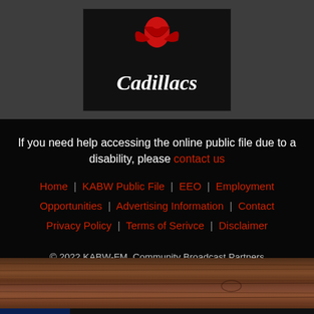[Figure (logo): Cadillacs band logo with a red stylized figure and cursive 'Cadillacs' text on dark background]
If you need help accessing the online public file due to a disability, please contact us
Home | KABW Public File | EEO | Employment Opportunities | Advertising Information | Contact Privacy Policy | Terms of Serivce | Disclaimer
© 2022 KABW-FM, Community Broadcast Partners Built on Envisionwise Technology.
[Figure (photo): Wood plank texture strip]
Best Thing Since Backroads
Jake Owen